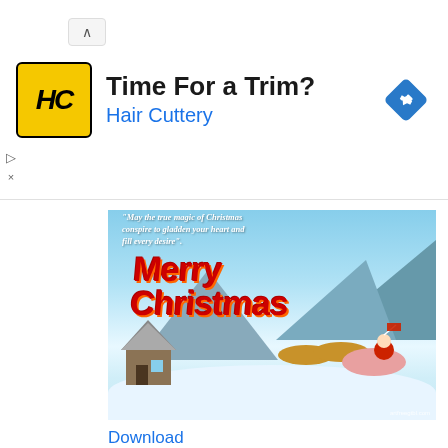[Figure (infographic): Advertisement banner for Hair Cuttery with yellow square logo showing HC letters, title 'Time For a Trim?', subtitle 'Hair Cuttery', and blue navigation diamond icon on the right]
[Figure (illustration): Merry Christmas greeting card image showing Santa in a sleigh pulled by reindeer over a snowy winter landscape with mountains, trees, a snow-covered house, snowman, and deer. Red 'Merry Christmas' text overlay. Quote text visible at top. Watermark 'artfreegrbl.com'.]
Download
These were some best collection of Merry Christmas wishes images. Hope you like the Christmas greetings. Comment below how you like these merry Christmas quotes. If you are looking for more surprising Christmas wishes images and Christmas greeting then